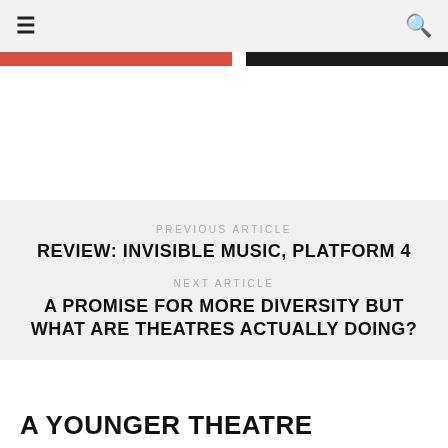≡  🔍
[Figure (other): Two-tone color bar: red section on left, black section on right with white gap between]
PREVIOUS ARTICLE
REVIEW: INVISIBLE MUSIC, PLATFORM 4
NEXT ARTICLE
A PROMISE FOR MORE DIVERSITY BUT WHAT ARE THEATRES ACTUALLY DOING?
A YOUNGER THEATRE
A Younger Theatre (AYT) is a platform for young people to